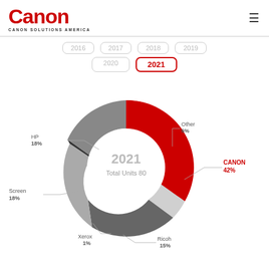[Figure (logo): Canon logo with 'CANON SOLUTIONS AMERICA' text below]
[Figure (infographic): Year navigation buttons: 2016, 2017, 2018, 2019 (top row), 2020, 2021 active (bottom row)]
[Figure (donut-chart): 2021 Total Units 80]